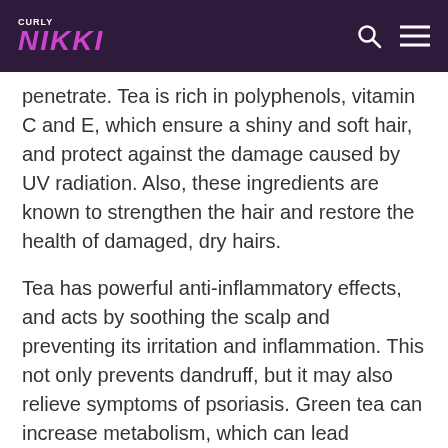CURLY NIKKI
penetrate. Tea is rich in polyphenols, vitamin C and E, which ensure a shiny and soft hair, and protect against the damage caused by UV radiation. Also, these ingredients are known to strengthen the hair and restore the health of damaged, dry hairs.
Tea has powerful anti-inflammatory effects, and acts by soothing the scalp and preventing its irritation and inflammation. This not only prevents dandruff, but it may also relieve symptoms of psoriasis. Green tea can increase metabolism, which can lead